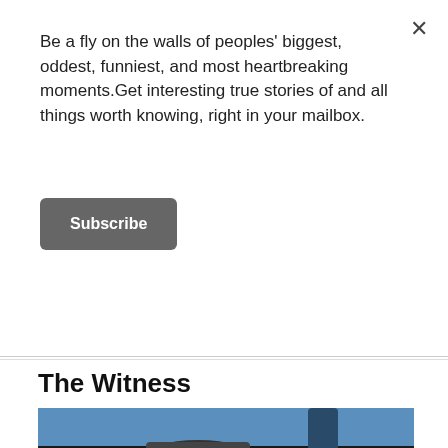Be a fly on the walls of peoples' biggest, oddest, funniest, and most heartbreaking moments.Get interesting true stories of and all things worth knowing, right in your mailbox.
Subscribe
The Witness
[Figure (photo): A smiling young man sitting in the driver's seat of a car with a red seat and seatbelt, leaning toward the camera with hands on the steering wheel. The car roof is dark/black with blue trim, and the background outside shows an orange/red environment.]